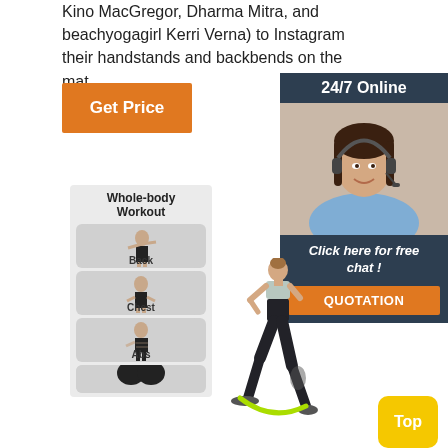Kino MacGregor, Dharma Mitra, and beachyogagirl Kerri Verna) to Instagram their handstands and backbends on the mat.
[Figure (other): Orange 'Get Price' button]
[Figure (other): 24/7 Online chat widget with woman wearing headset, 'Click here for free chat!' text, and orange QUOTATION button]
[Figure (other): Whole-body Workout panel with sections: Back, Chest, Abs, and a partial fourth section, showing female fitness images]
[Figure (illustration): Female figure in workout pose with resistance band around ankles, lunging position]
[Figure (other): Yellow 'Top' button in bottom right corner]